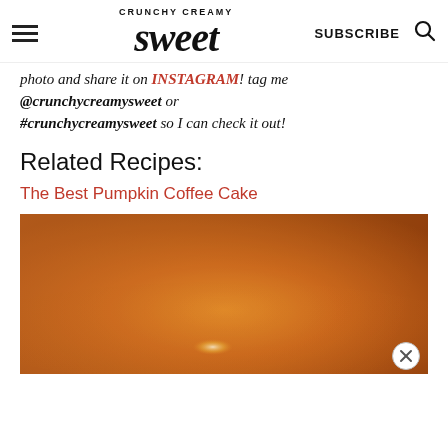CRUNCHY CREAMY sweet | SUBSCRIBE
photo and share it on INSTAGRAM! tag me @crunchycreamysweet or #crunchycreamysweet so I can check it out!
Related Recipes:
The Best Pumpkin Coffee Cake
[Figure (photo): Orange/amber toned blurry photo of a pumpkin coffee cake from above, warm amber and orange hues]